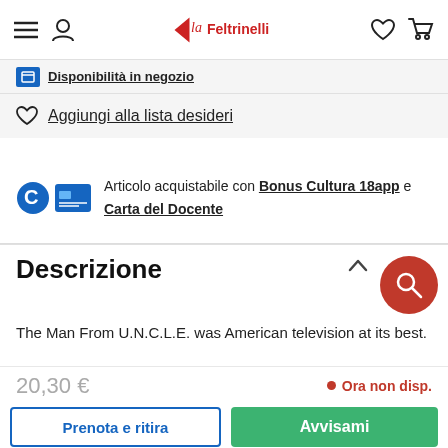la Feltrinelli
Disponibilità in negozio
Aggiungi alla lista desideri
Articolo acquistabile con Bonus Cultura 18app e Carta del Docente
Descrizione
The Man From U.N.C.L.E. was American television at its best.
20,30 €
Ora non disp.
Prenota e ritira
Avvisami